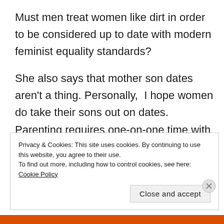Must men treat women like dirt in order to be considered up to date with modern feminist equality standards?
She also says that mother son dates aren't a thing. Personally, I hope women do take their sons out on dates. Parenting requires one-on-one time with your child. When you have 5 kids like we do
Privacy & Cookies: This site uses cookies. By continuing to use this website, you agree to their use.
To find out more, including how to control cookies, see here: Cookie Policy
Close and accept